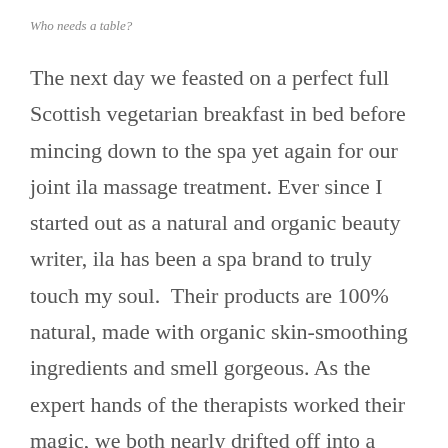Who needs a table?
The next day we feasted on a perfect full Scottish vegetarian breakfast in bed before mincing down to the spa yet again for our joint ila massage treatment. Ever since I started out as a natural and organic beauty writer, ila has been a spa brand to truly touch my soul.  Their products are 100% natural, made with organic skin-smoothing ingredients and smell gorgeous. As the expert hands of the therapists worked their magic, we both nearly drifted off into a serene place miles away from the manic hubbub of London Town.